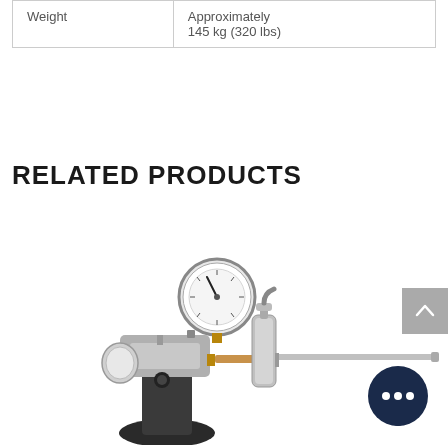| Weight | Approximately
145 kg (320 lbs) |
RELATED PRODUCTS
[Figure (photo): Industrial pressure testing or gas injection equipment with a round pressure gauge at top, metallic valves, copper fittings, and a long horizontal probe/lance extending to the right, mounted on a black base.]